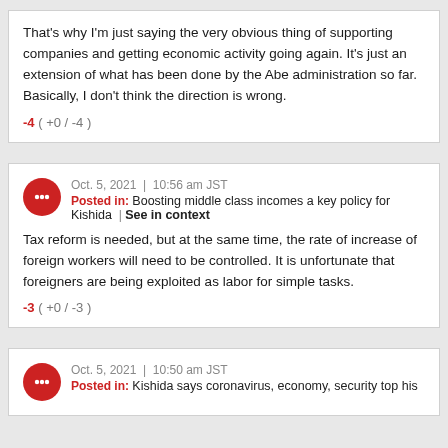That's why I'm just saying the very obvious thing of supporting companies and getting economic activity going again. It's just an extension of what has been done by the Abe administration so far. Basically, I don't think the direction is wrong.
-4 ( +0 / -4 )
Oct. 5, 2021 | 10:56 am JST
Posted in: Boosting middle class incomes a key policy for Kishida | See in context
Tax reform is needed, but at the same time, the rate of increase of foreign workers will need to be controlled. It is unfortunate that foreigners are being exploited as labor for simple tasks.
-3 ( +0 / -3 )
Oct. 5, 2021 | 10:50 am JST
Posted in: Kishida says coronavirus, economy, security top his